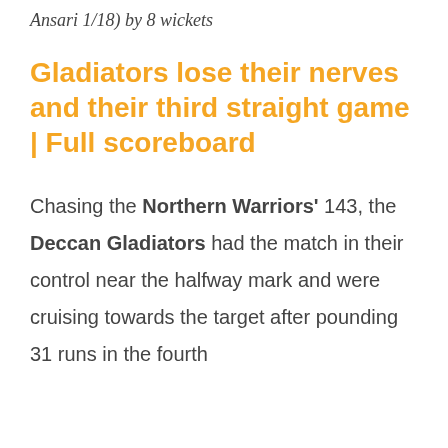Ansari 1/18) by 8 wickets
Gladiators lose their nerves and their third straight game | Full scoreboard
Chasing the Northern Warriors' 143, the Deccan Gladiators had the match in their control near the halfway mark and were cruising towards the target after pounding 31 runs in the fourth